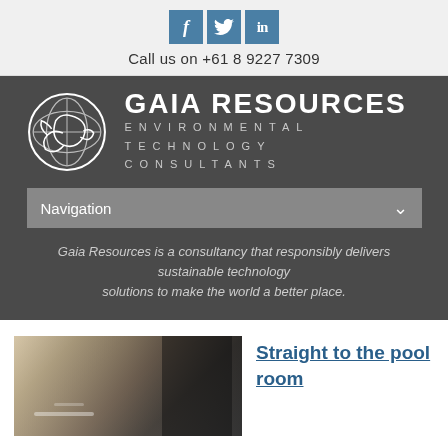[Figure (logo): Social media icons: Facebook (f), Twitter (bird), LinkedIn (in) in steel blue square buttons]
Call us on +61 8 9227 7309
[Figure (logo): Gaia Resources logo: circular fish/globe emblem with text GAIA RESOURCES ENVIRONMENTAL TECHNOLOGY CONSULTANTS on dark grey background]
Navigation
Gaia Resources is a consultancy that responsibly delivers sustainable technology solutions to make the world a better place.
[Figure (photo): Blurred photo of people at a dining/conference table with glasses and dishware]
Straight to the pool room